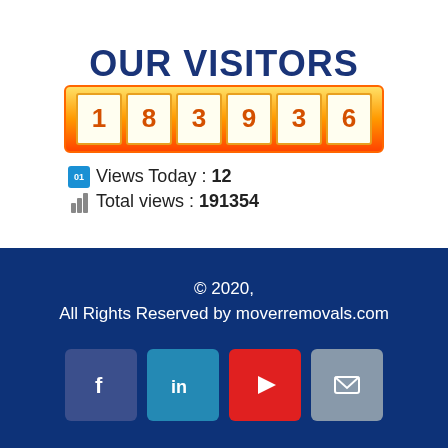OUR VISITORS
1 8 3 9 3 6
Views Today : 12
Total views : 191354
© 2020,
All Rights Reserved by moverremovals.com